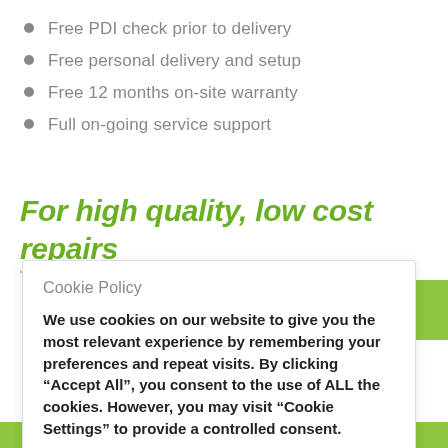Free PDI check prior to delivery
Free personal delivery and setup
Free 12 months on-site warranty
Full on-going service support
For high quality, low cost repairs
Cookie Policy
We use cookies on our website to give you the most relevant experience by remembering your preferences and repeat visits. By clicking “Accept All”, you consent to the use of ALL the cookies. However, you may visit "Cookie Settings" to provide a controlled consent.